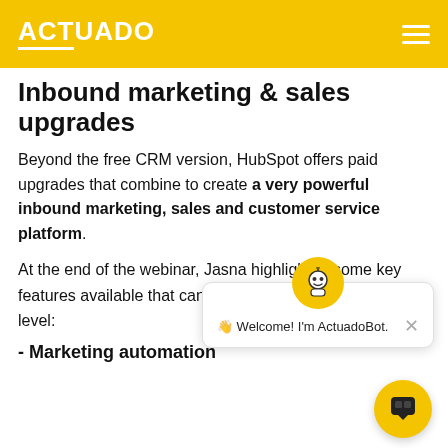ACTUADO
Inbound marketing & sales upgrades
Beyond the free CRM version, HubSpot offers paid upgrades that combine to create a very powerful inbound marketing, sales and customer service platform.
At the end of the webinar, Jasna highlighted some key features available that can take your marketing to the next level:
- Marketing automation
[Figure (screenshot): Chatbot widget popup showing a robot avatar icon and the message: Welcome! I'm ActuadoBot. with a close (×) button, and a yellow circular chat button in the bottom-right corner.]